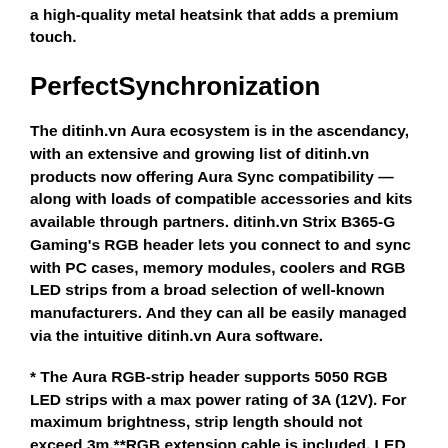a high-quality metal heatsink that adds a premium touch.
PerfectSynchronization
The ditinh.vn Aura ecosystem is in the ascendancy, with an extensive and growing list of ditinh.vn products now offering Aura Sync compatibility — along with loads of compatible accessories and kits available through partners. ditinh.vn Strix B365-G Gaming's RGB header lets you connect to and sync with PC cases, memory modules, coolers and RGB LED strips from a broad selection of well-known manufacturers. And they can all be easily managed via the intuitive ditinh.vn Aura software.
* The Aura RGB-strip header supports 5050 RGB LED strips with a max power rating of 3A (12V). For maximum brightness, strip length should not exceed 3m.**RGB extension cable is included. LED strips and Aura Sync